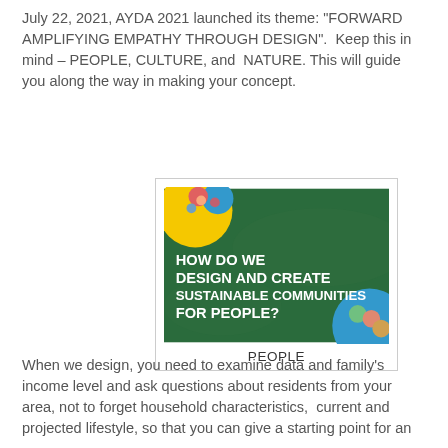July 22, 2021, AYDA 2021 launched its theme: "FORWARD AMPLIFYING EMPATHY THROUGH DESIGN".  Keep this in mind – PEOPLE, CULTURE, and  NATURE. This will guide you along the way in making your concept.
[Figure (illustration): Illustrated poster on dark green background with bold white text reading 'HOW DO WE DESIGN AND CREATE SUSTAINABLE COMMUNITIES FOR PEOPLE?' with colorful illustrated people in corners. Below the image is the label 'PEOPLE'.]
When we design, you need to examine data and family's income level and ask questions about residents from your area, not to forget household characteristics,  current and projected lifestyle, so that you can give a starting point for an